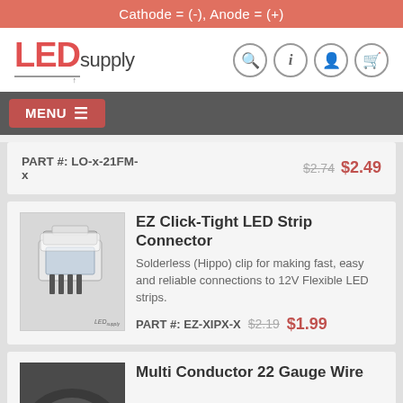Cathode = (-), Anode = (+)
[Figure (logo): LEDsupply logo with search, info, account, and cart icons]
MENU
PART #: LO-x-21FM-x   $2.74  $2.49
EZ Click-Tight LED Strip Connector
Solderless (Hippo) clip for making fast, easy and reliable connections to 12V Flexible LED strips.
PART #: EZ-XIPX-X   $2.19  $1.99
Multi Conductor 22 Gauge Wire